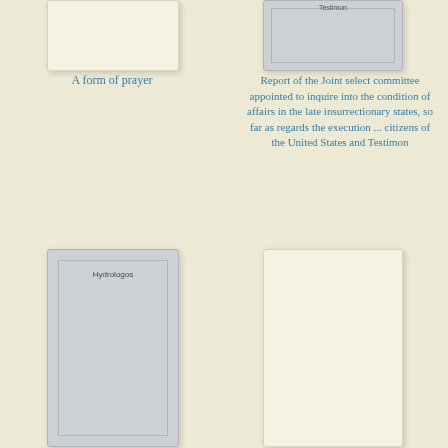[Figure (illustration): Book cover thumbnail, cream/off-white colored, top-left card]
[Figure (illustration): Book cover thumbnail, gray colored with 'Testimon' text label, top-right card]
A form of prayer
Report of the Joint select committee appointed to inquire into the condition of affairs in the late insurrectionary states, so far as regards the execution ... citizens of the United States and Testimon
[Figure (illustration): Book cover thumbnail, gray colored with 'Hydrologos' text label, bottom-left card]
[Figure (illustration): Book cover thumbnail, cream/off-white colored, bottom-right card]